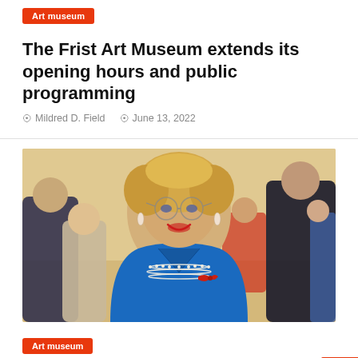The Frist Art Museum extends its opening hours and public programming
Mildred D. Field   June 13, 2022
[Figure (photo): An elderly woman with blonde hair, glasses, and red lipstick wearing a bright blue jacket with pearl necklace and red brooch, smiling at an event with people in background]
Art museum
Austrian billionaire Heidi Horten dies